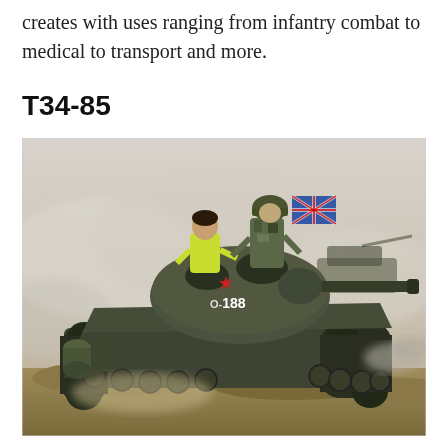creates with uses ranging from infantry combat to medical to transport and more.
T34-85
[Figure (photo): A T34-85 tank numbered O-2 188 with a red star marking, being driven across dusty terrain during what appears to be a military reenactment. Two people are visible in the open turret hatch — one wearing a yellow-green safety vest and the other in military camouflage. A British flag is partially visible in the smoky background along with other tanks and personnel.]